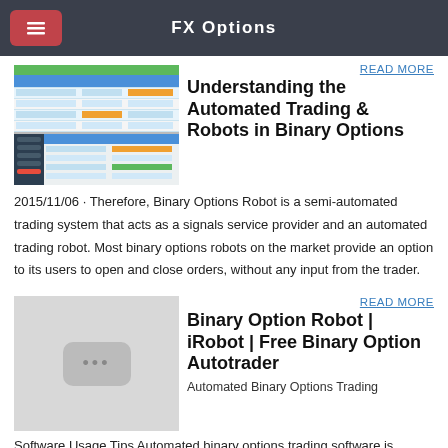FX Options
[Figure (screenshot): Screenshot of a trading software interface showing multiple dashboard panels with tables and charts in blue and orange]
READ MORE
Understanding the Automated Trading & Robots in Binary Options
2015/11/06 · Therefore, Binary Options Robot is a semi-automated trading system that acts as a signals service provider and an automated trading robot. Most binary options robots on the market provide an option to its users to open and close orders, without any input from the trader.
[Figure (illustration): Light grey placeholder image with a dark grey rounded rectangle icon containing three dots]
READ MORE
Binary Option Robot | iRobot | Free Binary Option Autotrader
Automated Binary Options Trading
Software Usage Tips Automated binary options trading software is